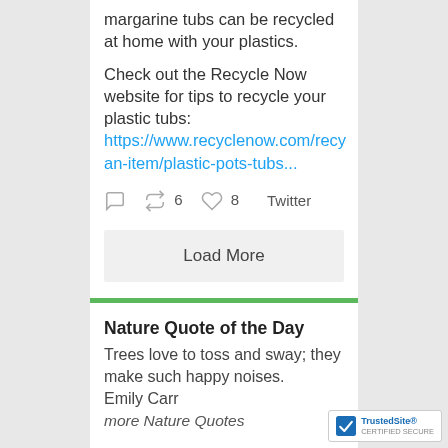margarine tubs can be recycled at home with your plastics.
Check out the Recycle Now website for tips to recycle your plastic tubs: https://www.recyclenow.com/recy an-item/plastic-pots-tubs...
6 retweets  8 likes  Twitter
Load More
Nature Quote of the Day
Trees love to toss and sway; they make such happy noises.
Emily Carr
more Nature Quotes
FEATURED VIDEO: CLIMATE CHANGE